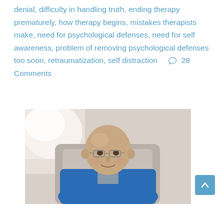denial, difficulty in handling truth, ending therapy prematurely, how therapy begins, mistakes therapists make, need for psychological defenses, need for self awareness, problem of removing psychological defenses too soon, retraumatization, self distraction   💬 28 Comments
[Figure (photo): An elderly bald man wearing glasses and a blue fleece jacket, seated in a grey chair, photographed indoors with natural light from the left.]